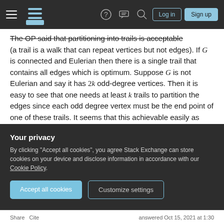Stack Exchange navigation header with hamburger menu, logo, help, chat, search icons, Log in and Sign up buttons
The OP said that partitioning into trails is acceptable (a trail is a walk that can repeat vertices but not edges). If G is connected and Eulerian then there is a single trail that contains all edges which is optimum. Suppose G is not Eulerian and say it has 2k odd-degree vertices. Then it is easy to see that one needs at least k trails to partition the edges since each odd degree vertex must be the end point of one of these trails. It seems that this achievable easily as follows. Add an arbitrary matching on the 2k odd-degree vertices. Now it becomes Eulerian. Take the Eulerian trail which now contains the k...
Your privacy
By clicking "Accept all cookies", you agree Stack Exchange can store cookies on your device and disclose information in accordance with our Cookie Policy.
Accept all cookies   Customize settings
Share   Cite                    answered Oct 15, 2021 at 1:30